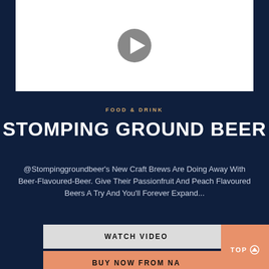[Figure (screenshot): Video thumbnail with play button on white background]
FOOD & DRINK
STOMPING GROUND BEER
@Stompinggroundbeer's New Craft Brews Are Doing Away With Beer-Flavoured-Beer. Give Their Passionfruit And Peach Flavoured Beers A Try And You'll Forever Expand...
WATCH VIDEO
BUY NOW FROM NA
TOP